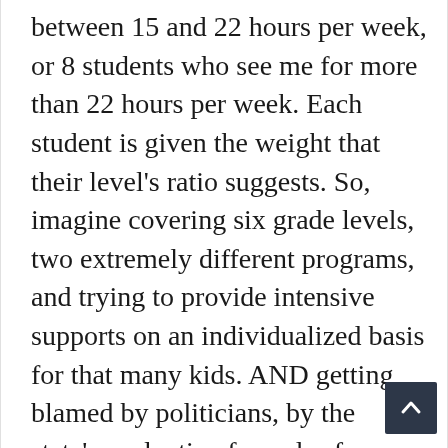between 15 and 22 hours per week, or 8 students who see me for more than 22 hours per week. Each student is given the weight that their level's ratio suggests. So, imagine covering six grade levels, two extremely different programs, and trying to provide intensive supports on an individualized basis for that many kids. AND getting blamed by politicians, by the state's evaluative formulas for teacher "effectiveness," and overloaded general ed teachers. General ed teachers are also sweating having kids in their classes